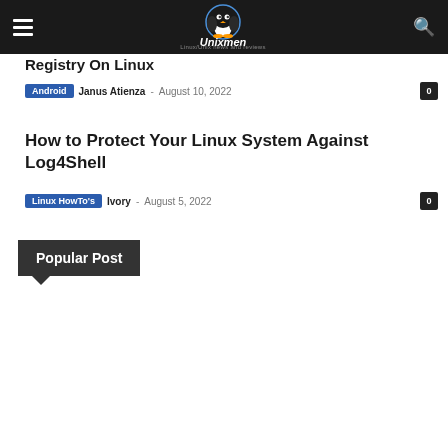Unixmen – Linux/Unix news and reviews
Registry On Linux
Android · Janus Atienza – August 10, 2022 · 0
How to Protect Your Linux System Against Log4Shell
Linux HowTo's · Ivory – August 5, 2022 · 0
Popular Post